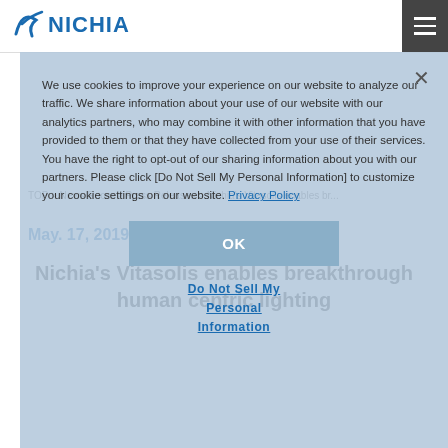NICHIA
[Figure (logo): Nichia logo with stylized checkmark/swoosh and NICHIA text in blue]
News Room
We use cookies to improve your experience on our website to analyze our traffic. We share information about your use of our website with our analytics partners, who may combine it with other information that you have provided to them or that they have collected from your use of their services. You have the right to opt-out of our sharing information about you with our partners. Please click [Do Not Sell My Personal Information] to customize your cookie settings on our website. Privacy Policy
TOP > News Room > Press Releases > Nichia's Vitasolis enables br...
OK
Do Not Sell My Personal Information
May. 17, 2019
Nichia's Vitasolis enables breakthrough human centric lighting